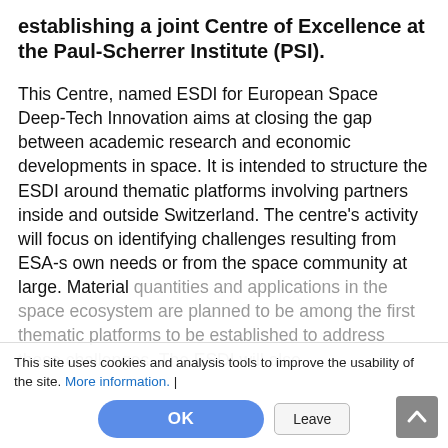establishing a joint Centre of Excellence at the Paul-Scherrer Institute (PSI).
This Centre, named ESDI for European Space Deep-Tech Innovation aims at closing the gap between academic research and economic developments in space. It is intended to structure the ESDI around thematic platforms involving partners inside and outside Switzerland. The centre's activity will focus on identifying challenges resulting from ESA-s own needs or from the space community at large. Material [quantities and applications in the space ecosystem are planned to be among the first thematic platforms to be established to address these challenges. The ESDI will also]
This site uses cookies and analysis tools to improve the usability of the site. More information. |